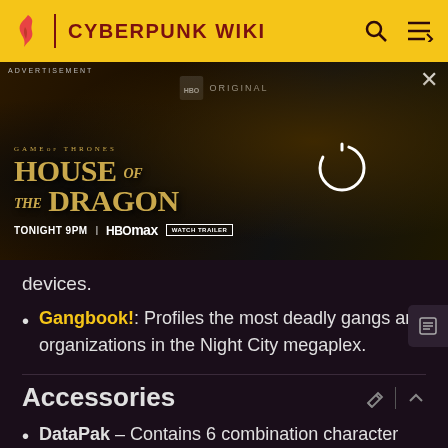CYBERPUNK WIKI
[Figure (screenshot): HBO Original advertisement banner for Game of Thrones: House of the Dragon. Shows 'TONIGHT 9PM | HBOMAX | WATCH TRAILER'. Dark fantasy imagery with golden text.]
devices.
Gangbook!: Profiles the most deadly gangs and organizations in the Night City megaplex.
Accessories
DataPak – Contains 6 combination character sheets / dossier envelopes and 6 AltCult status sheets.
FlashPak - Cyberpunk Gaming Utility: GM screen,